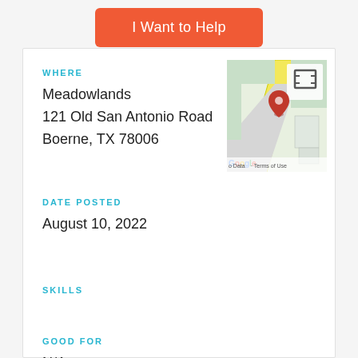I Want to Help
WHERE
Meadowlands
121 Old San Antonio Road
Boerne, TX 78006
[Figure (map): Google Maps thumbnail showing location near Old San Antonio Road, Boerne TX, with a red pin marker and fullscreen icon]
DATE POSTED
August 10, 2022
SKILLS
GOOD FOR
N/A
REQUIREMENTS